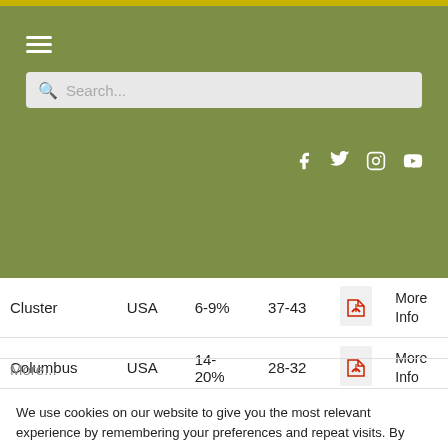[Figure (screenshot): Website header with olive/green navigation bar containing hamburger menu, search bar, and social media icons (Facebook, Twitter, Instagram, YouTube)]
| Cluster | USA | 6-9% | 37-43 | [PDF icon] | More Info |
| Columbus | USA | 14-20% | 28-32 | [PDF icon] | More Info |
We use cookies on our website to give you the most relevant experience by remembering your preferences and repeat visits. By clicking “Accept All”, you consent to the use of ALL the cookies. However, you may visit “Cookie Settings” to provide a controlled consent. You can read about the cookies here